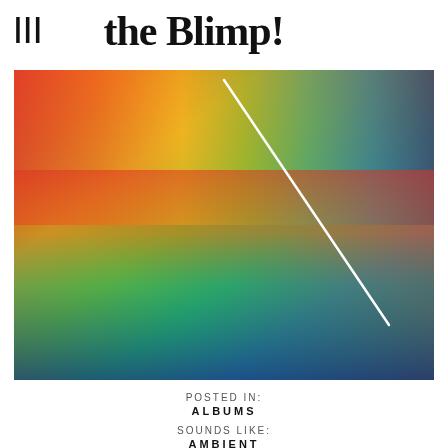III  the Blimp!
[Figure (illustration): Album art with a rainbow gradient background transitioning from red/orange at top-left to blue at the bottom, with a white diagonal line crossing from upper center to lower right]
POSTED IN:
ALBUMS
SOUNDS LIKE:
AMBIENT
MODERN CLASSICAL